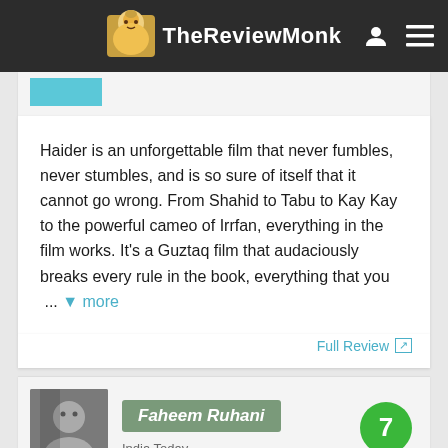TheReviewMonk
Haider is an unforgettable film that never fumbles, never stumbles, and is so sure of itself that it cannot go wrong. From Shahid to Tabu to Kay Kay to the powerful cameo of Irrfan, everything in the film works. It's a Guztaq film that audaciously breaks every rule in the book, everything that you  ...  more
Full Review
Faheem Ruhani
India Today
7
Haider may seem a bit sluggish in the first half and slightly long. However, it makes up for most of it in the dramatic, intense climax that you are treated to towards the end. Haider is definitely a film you should not miss.